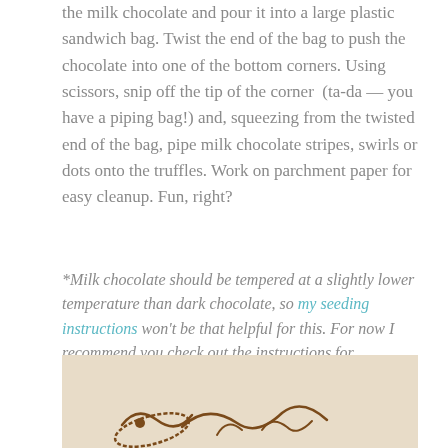the milk chocolate and pour it into a large plastic sandwich bag. Twist the end of the bag to push the chocolate into one of the bottom corners. Using scissors, snip off the tip of the corner (ta-da — you have a piping bag!) and, squeezing from the twisted end of the bag, pipe milk chocolate stripes, swirls or dots onto the truffles. Work on parchment paper for easy cleanup. Fun, right?
*Milk chocolate should be tempered at a slightly lower temperature than dark chocolate, so my seeding instructions won't be that helpful for this. For now I recommend you check out the instructions for tempering milk chocolate on Ecole Chocolat's website.
[Figure (photo): Bottom portion of a food photo on a tan/beige parchment background showing chocolate swirl decorations or truffles, partially visible at the bottom of the page.]